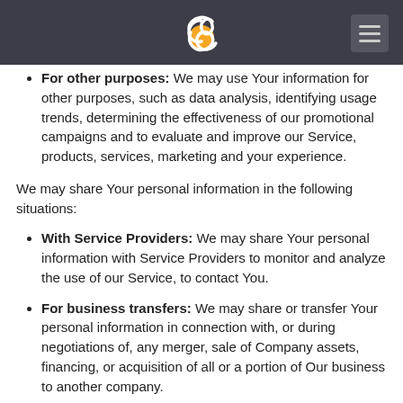[Navigation header with logo and menu]
For other purposes: We may use Your information for other purposes, such as data analysis, identifying usage trends, determining the effectiveness of our promotional campaigns and to evaluate and improve our Service, products, services, marketing and your experience.
We may share Your personal information in the following situations:
With Service Providers: We may share Your personal information with Service Providers to monitor and analyze the use of our Service, to contact You.
For business transfers: We may share or transfer Your personal information in connection with, or during negotiations of, any merger, sale of Company assets, financing, or acquisition of all or a portion of Our business to another company.